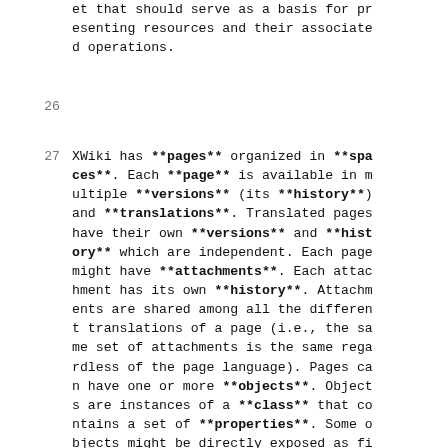et that should serve as a basis for presenting resources and their associated operations.
26
27  XWiki has **pages** organized in **spaces**. Each **page** is available in multiple **versions** (its **history**) and **translations**. Translated pages have their own **versions** and **history** which are independent. Each page might have **attachments**. Each attachment has its own **history**. Attachments are shared among all the different translations of a page (i.e., the same set of attachments is the same regardless of the page language). Pages can have one or more **objects**. Objects are instances of a **class** that contains a set of **properties**. Some objects might be directly exposed as first class entities, such as **comments** and **tags**. Objects, as attachments, are shared among all page translations